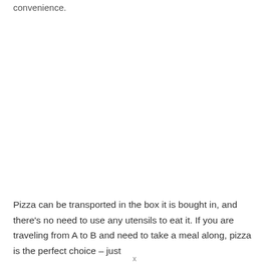convenience.
Pizza can be transported in the box it is bought in, and there's no need to use any utensils to eat it. If you are traveling from A to B and need to take a meal along, pizza is the perfect choice – just
x